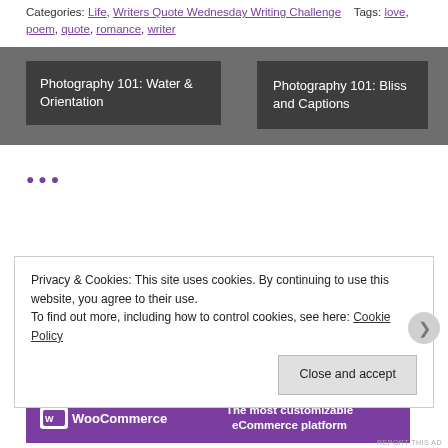Categories: Life, Writers Quote Wednesday Writing Challenge   Tags: love, poem, quote, romance, writer
[Figure (other): Blog navigation section with dark grey background containing two navigation boxes: 'Photography 101: Water & Orientation' on the left and 'Photography 101: Bliss and Captions' on the right]
Privacy & Cookies: This site uses cookies. By continuing to use this website, you agree to their use. To find out more, including how to control cookies, see here: Cookie Policy
Close and accept
Advertisements
[Figure (other): WooCommerce advertisement banner: purple background with WooCommerce logo and text 'The most customizable eCommerce platform']
REPORT THIS AD